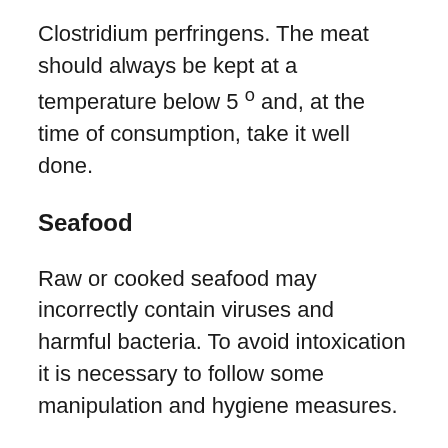Clostridium perfringens. The meat should always be kept at a temperature below 5 º and, at the time of consumption, take it well done.
Seafood
Raw or cooked seafood may incorrectly contain viruses and harmful bacteria. To avoid intoxication it is necessary to follow some manipulation and hygiene measures.
Thus, we should note that they have a good smell and a bright appearance (although the color of the mussels does not always reflect the quality, but indicates whether they are female or male). In addition, shell clams, cockles, mussels, and oysters should be